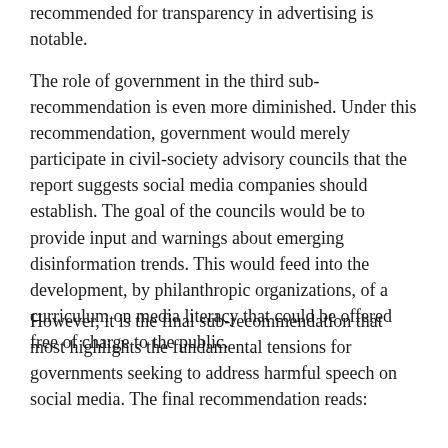recommended for transparency in advertising is notable.
The role of government in the third sub-recommendation is even more diminished. Under this recommendation, government would merely participate in civil-society advisory councils that the report suggests social media companies should establish. The goal of the councils would be to provide input and warnings about emerging disinformation trends. This would feed into the development, by philanthropic organizations, of a curriculum on media literacy that could be offered free of charge to the public.
However, it is the final sub-recommendation that most highlights the fundamental tensions for governments seeking to address harmful speech on social media. The final recommendation reads: